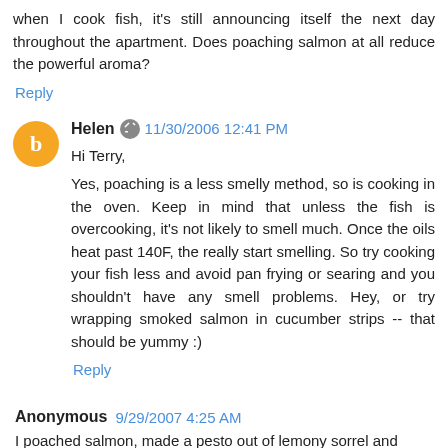when I cook fish, it's still announcing itself the next day throughout the apartment. Does poaching salmon at all reduce the powerful aroma?
Reply
Helen  11/30/2006 12:41 PM
Hi Terry,

Yes, poaching is a less smelly method, so is cooking in the oven. Keep in mind that unless the fish is overcooking, it's not likely to smell much. Once the oils heat past 140F, the really start smelling. So try cooking your fish less and avoid pan frying or searing and you shouldn't have any smell problems. Hey, or try wrapping smoked salmon in cucumber strips -- that should be yummy :)
Reply
Anonymous  9/29/2007 4:25 AM
I poached salmon, made a pesto out of lemony sorrel and